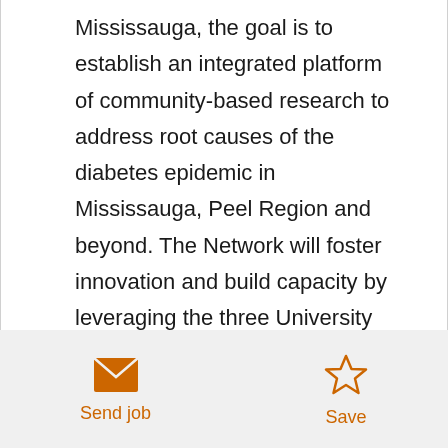Mississauga, the goal is to establish an integrated platform of community-based research to address root causes of the diabetes epidemic in Mississauga, Peel Region and beyond. The Network will foster innovation and build capacity by leveraging the three University partners’ wealth of academic strengths and cutting-edge methods, and by catalyzing the creation of important links across fields to integrate diverse mindsets and approaches. Through reciprocal partnerships with community stakeholders, the Network will support the co-design and evaluation of locally relevant solutions that can be applied to a
Send job  Save